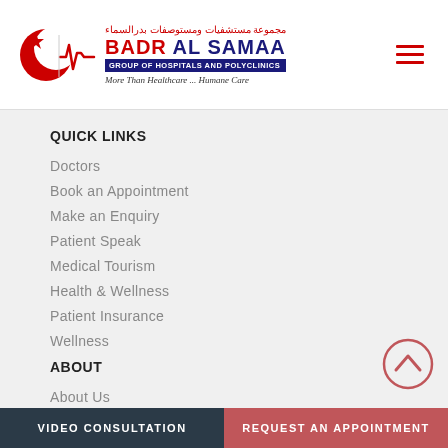[Figure (logo): Badr Al Samaa Group of Hospitals and Polyclinics logo with crescent and heartbeat symbol, Arabic text above, English name in navy blue with red accent, tagline 'More Than Healthcare...Humane Care']
QUICK LINKS
Doctors
Book an Appointment
Make an Enquiry
Patient Speak
Medical Tourism
Health & Wellness
Patient Insurance
Wellness
ABOUT
About Us
Video Consultation | Request An Appointment